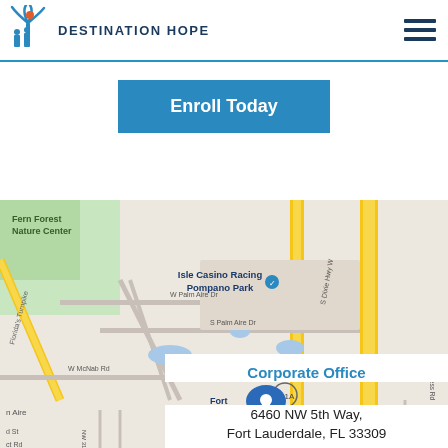Destination Hope
Enroll Today
[Figure (map): Google Maps view showing the area around Fort Lauderdale Executive Airport, with landmarks including Fern Forest Nature Center, Isle Casino Racing Pompano Park, W Palm Aire Dr, S Palm Aire Dr, W McNab Rd, S Dixie Hwy W, S Cypress Rd, route 811A, and a blue location pin marker near W McNab Rd.]
Corporate Office
6460 NW 5th Way,
Fort Lauderdale, FL 33309